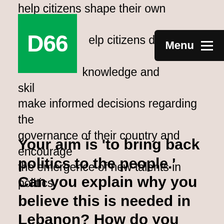help citizens shape their own political …elp citizens develop the knowledge and skil… make informed decisions regarding the governance of their country and encourage the emergence of new talents in politics.
[Figure (logo): D66 party logo — white bold text 'D66' on green square background]
[Figure (screenshot): Black rounded rectangle menu button with 'Menu' label and hamburger icon]
Your aim is 'to bring back politics to the people.' Can you explain why you believe this is needed in Lebanon? How do you look at the political landscape in